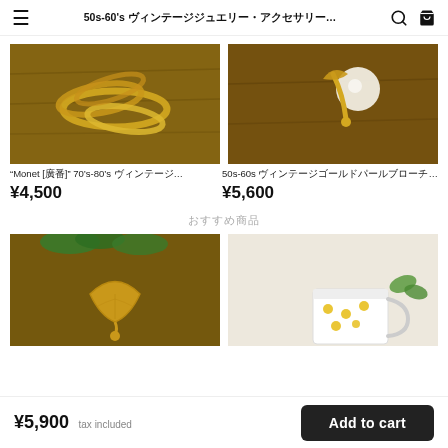50s-60's ヴィンテージジュエリー・アクセサリー専門店...
[Figure (photo): Gold wavy rings on wooden surface]
"Monet [廃番]" 70's-80's ヴィンテージ...
¥4,500
[Figure (photo): Gold pearl drop brooch on wooden surface]
50s-60s ヴィンテージゴールドパールブローチ...
¥5,600
おすすめ商品
[Figure (photo): Gold leaf pendant on wooden surface with green leaves]
[Figure (photo): White ceramic cup with yellow dots on light background]
¥5,900 tax included
Add to cart